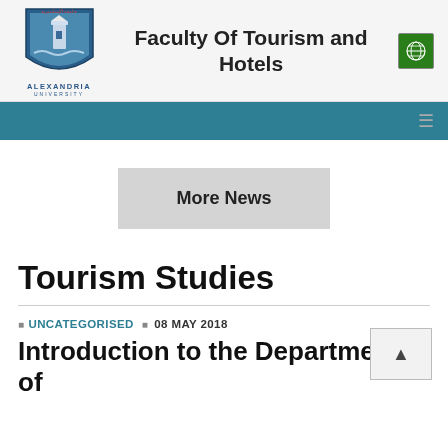Alexandria University — Faculty Of Tourism and Hotels
Faculty Of Tourism and Hotels
[Figure (logo): Alexandria University shield logo with lighthouse and text]
More News
Tourism Studies
UNCATEGORISED   08 MAY 2018
Introduction to the Department of